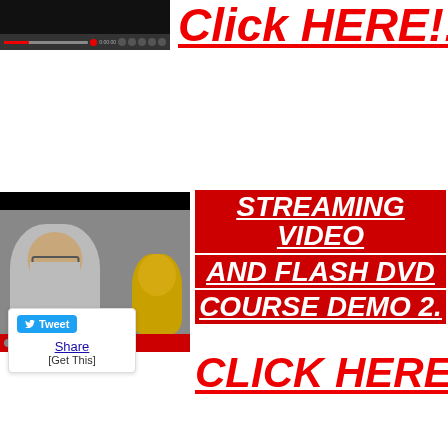[Figure (screenshot): Video player with dark background and controls bar showing red progress indicator]
Click HERE!!
[Figure (screenshot): Video player showing man with long beard and glasses next to a golden Buddha statue, with red controls bar at bottom]
[Figure (screenshot): Twitter Tweet button and Share / [Get This] social sharing widget]
STREAMING VIDEO AND FLASH DVD COURSE DEMO 2.
CLICK HERE!!